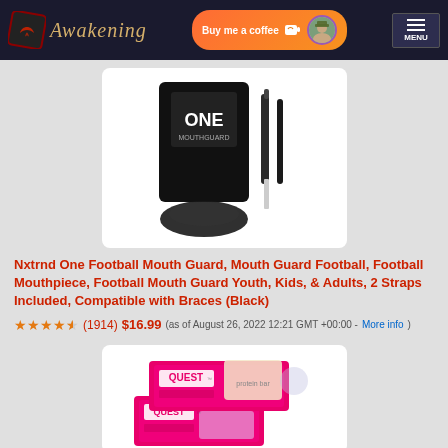Awakening | Buy me a coffee | MENU
[Figure (photo): Football mouth guard product image showing black mouthpiece with straps against white background. 'ONE' branding visible.]
Nxtrnd One Football Mouth Guard, Mouth Guard Football, Football Mouthpiece, Football Mouth Guard Youth, Kids, & Adults, 2 Straps Included, Compatible with Braces (Black)
(1914) $16.99 (as of August 26, 2022 12:21 GMT +00:00 - More info)
[Figure (photo): Quest protein bar box product image showing two boxes of Quest bars with pink and white packaging.]